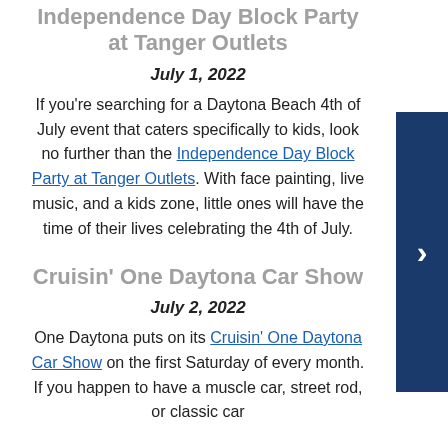Independence Day Block Party at Tanger Outlets
July 1, 2022
If you're searching for a Daytona Beach 4th of July event that caters specifically to kids, look no further than the Independence Day Block Party at Tanger Outlets. With face painting, live music, and a kids zone, little ones will have the time of their lives celebrating the 4th of July.
Cruisin' One Daytona Car Show
July 2, 2022
One Daytona puts on its Cruisin' One Daytona Car Show on the first Saturday of every month. If you happen to have a muscle car, street rod, or classic car